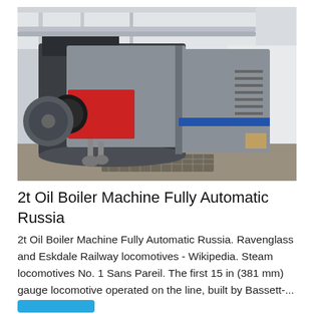[Figure (photo): Industrial boiler machines in a large white facility. Two large cylindrical silver boilers with a red burner component visible on the front of the left boiler. Pipes, gauges, and metal grating on the floor are also visible.]
2t Oil Boiler Machine Fully Automatic Russia
2t Oil Boiler Machine Fully Automatic Russia. Ravenglass and Eskdale Railway locomotives - Wikipedia. Steam locomotives No. 1 Sans Pareil. The first 15 in (381 mm) gauge locomotive operated on the line, built by Bassett-...